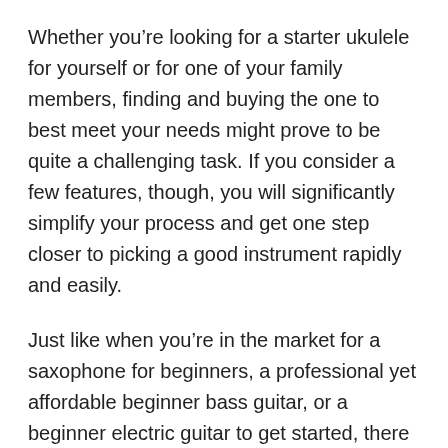Whether you're looking for a starter ukulele for yourself or for one of your family members, finding and buying the one to best meet your needs might prove to be quite a challenging task. If you consider a few features, though, you will significantly simplify your process and get one step closer to picking a good instrument rapidly and easily.
Just like when you're in the market for a saxophone for beginners, a professional yet affordable beginner bass guitar, or a beginner electric guitar to get started, there are some factors to guide your shopping and help you get what you want effortlessly.